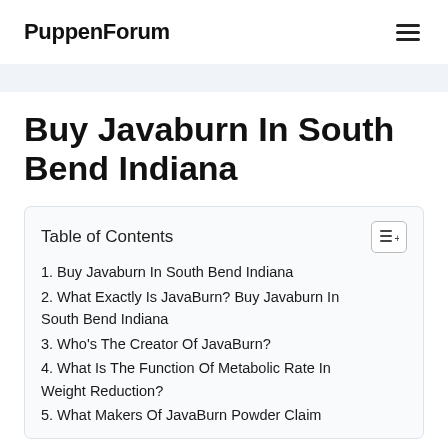PuppenForum
Buy Javaburn In South Bend Indiana
| Table of Contents |
| --- |
| 1. Buy Javaburn In South Bend Indiana |
| 2. What Exactly Is JavaBurn? Buy Javaburn In South Bend Indiana |
| 3. Who's The Creator Of JavaBurn? |
| 4. What Is The Function Of Metabolic Rate In Weight Reduction? |
| 5. What Makers Of JavaBurn Powder Claim |